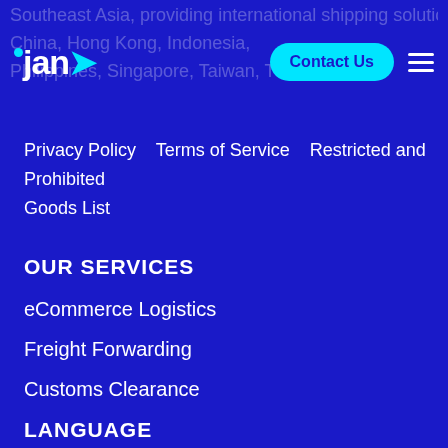janio — Contact Us — menu
Privacy Policy   Terms of Service   Restricted and Prohibited Goods List
OUR SERVICES
eCommerce Logistics
Freight Forwarding
Customs Clearance
LANGUAGE
English